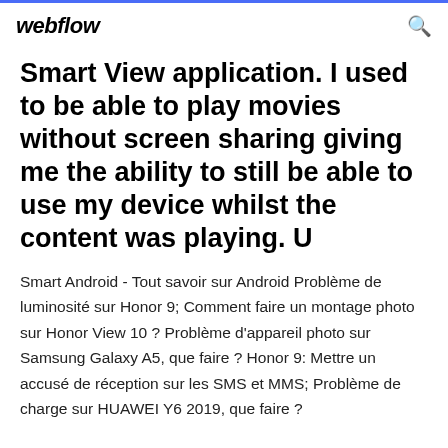webflow
Smart View application. I used to be able to play movies without screen sharing giving me the ability to still be able to use my device whilst the content was playing. U
Smart Android - Tout savoir sur Android Problème de luminosité sur Honor 9; Comment faire un montage photo sur Honor View 10 ? Problème d'appareil photo sur Samsung Galaxy A5, que faire ? Honor 9: Mettre un accusé de réception sur les SMS et MMS; Problème de charge sur HUAWEI Y6 2019, que faire ?